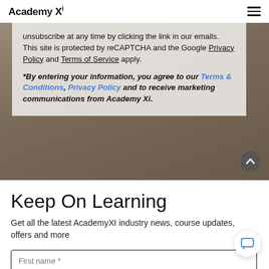Academy Xi
unsubscribe at any time by clicking the link in our emails. This site is protected by reCAPTCHA and the Google Privacy Policy and Terms of Service apply.
*By entering your information, you agree to our Terms & Conditions, Privacy Policy and to receive marketing communications from Academy Xi.
Keep On Learning
Get all the latest AcademyXI industry news, course updates, offers and more
First name *